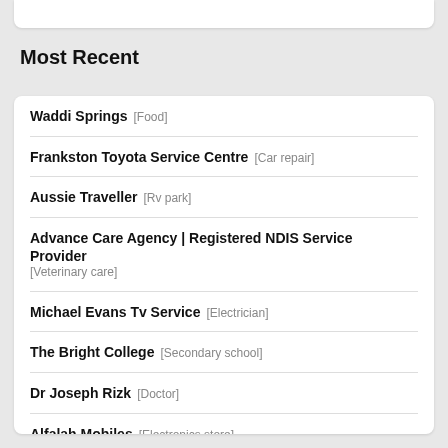Most Recent
Waddi Springs [Food]
Frankston Toyota Service Centre [Car repair]
Aussie Traveller [Rv park]
Advance Care Agency | Registered NDIS Service Provider [Veterinary care]
Michael Evans Tv Service [Electrician]
The Bright College [Secondary school]
Dr Joseph Rizk [Doctor]
Alfalah Mobiles [Electronics store]
Beds R Us Hyperdome [Furniture store]
Elite Property Wash Ltd [General contractor]